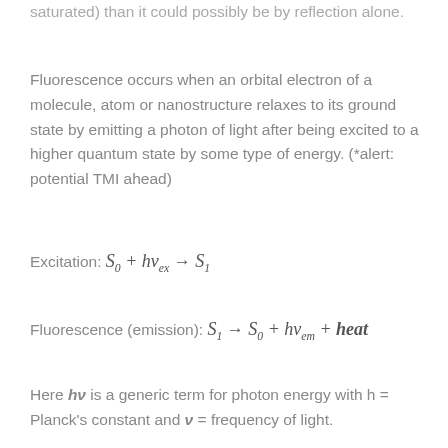saturated) than it could possibly be by reflection alone.
Fluorescence occurs when an orbital electron of a molecule, atom or nanostructure relaxes to its ground state by emitting a photon of light after being excited to a higher quantum state by some type of energy. (*alert: potential TMI ahead)
Here hν is a generic term for photon energy with h = Planck's constant and ν = frequency of light.